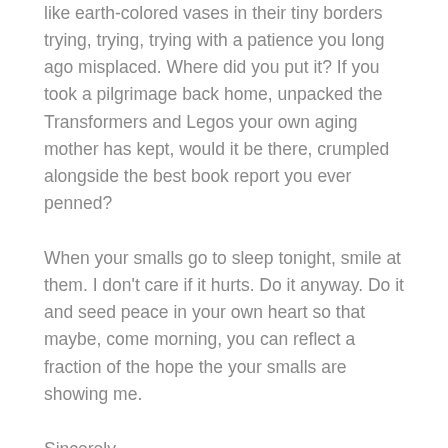like earth-colored vases in their tiny borders trying, trying, trying with a patience you long ago misplaced. Where did you put it? If you took a pilgrimage back home, unpacked the Transformers and Legos your own aging mother has kept, would it be there, crumpled alongside the best book report you ever penned?
When your smalls go to sleep tonight, smile at them. I don't care if it hurts. Do it anyway. Do it and seed peace in your own heart so that maybe, come morning, you can reflect a fraction of the hope the your smalls are showing me.
Sincerely,
L'enseignante